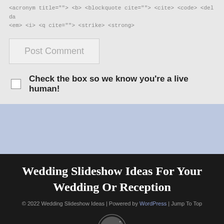<acronym title=""> <b> <blockquote cite=""> <cite> <code> <del da <em> <i> <q cite=""> <strike> <strong>
Post Comment
Check the box so we know you're a live human!
Wedding Slideshow Ideas For Your Wedding Or Reception
© 2022 Wedding Slideshow Ideas | Powered by WordPress | Jump To Top
[Figure (logo): Bea theme circular badge logo in grey]